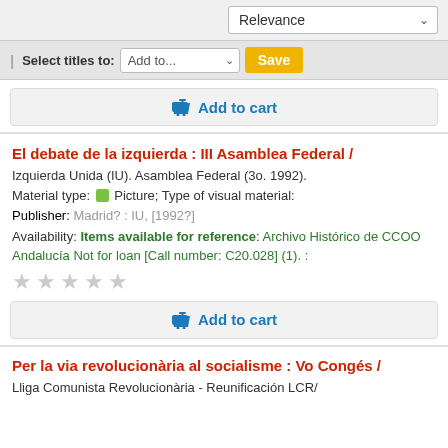Relevance (dropdown)
Select titles to: Add to... Save
Add to cart
El debate de la izquierda : III Asamblea Federal /
Izquierda Unida (IU). Asamblea Federal (3o. 1992).
Material type: Picture; Type of visual material:
Publisher: Madrid? : IU, [1992?]
Availability: Items available for reference: Archivo Histórico de CCOO Andalucía Not for loan [Call number: C20.028] (1). :
Add to cart
Per la via revolucionària al socialisme : Vo Congés /
Lliga Comunista Revolucionària - Reunificación LCR/